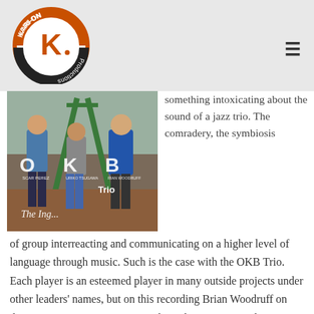Kari-On Productions logo and navigation
[Figure (photo): Album cover photo of OKB Trio showing three musicians standing outdoors. Text reads: O OSCAR PEREZ, K URIKO TSUGAWA, B RIAN WOODRUFF, Trio, The Ing...]
something intoxicating about the sound of a jazz trio. The comradery, the symbiosis of group interreacting and communicating on a higher level of language through music. Such is the case with the OKB Trio. Each player is an esteemed player in many outside projects under other leaders' names, but on this recording Brian Woodruff on drums, Oscar Perez on piano, and Kuriko Tsugawa on bass